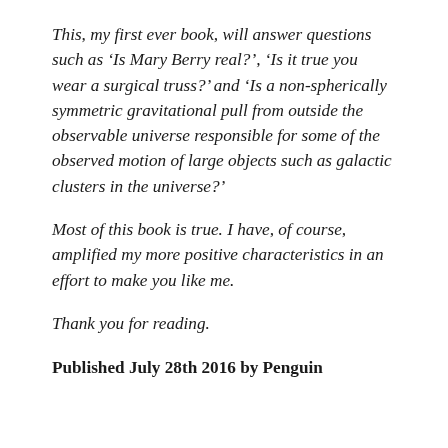This, my first ever book, will answer questions such as ‘Is Mary Berry real?’, ‘Is it true you wear a surgical truss?’ and ‘Is a non-spherically symmetric gravitational pull from outside the observable universe responsible for some of the observed motion of large objects such as galactic clusters in the universe?’
Most of this book is true. I have, of course, amplified my more positive characteristics in an effort to make you like me.
Thank you for reading.
Published July 28th 2016 by Penguin